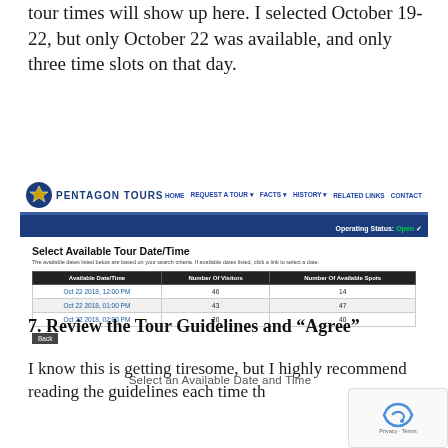tour times will show up here. I selected October 19-22, but only October 22 was available, and only three time slots on that day.
[Figure (screenshot): Screenshot of the Pentagon Tours website showing a table titled 'Select Available Tour Date/Time' with three rows for Oct 22 2018 at 12:00 PM (46 visitors, 14 spots), 01:00 PM (43 visitors, 47 spots), and 02:00 PM (20 visitors, 40 spots). The site has a navy/blue header with navigation links and an 'Operating Status: Open' status bar.]
Select an Available Date and Time
7. Review the Tour Guidelines and “Agree”
I know this is getting tiresome, but I highly recommend reading the guidelines each time th…